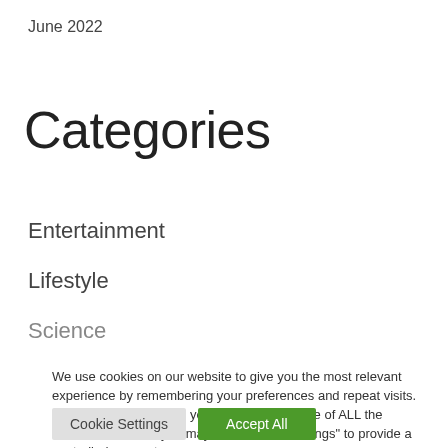June 2022
Categories
Entertainment
Lifestyle
Science
We use cookies on our website to give you the most relevant experience by remembering your preferences and repeat visits. By clicking “Accept All”, you consent to the use of ALL the cookies. However, you may visit "Cookie Settings" to provide a controlled consent.